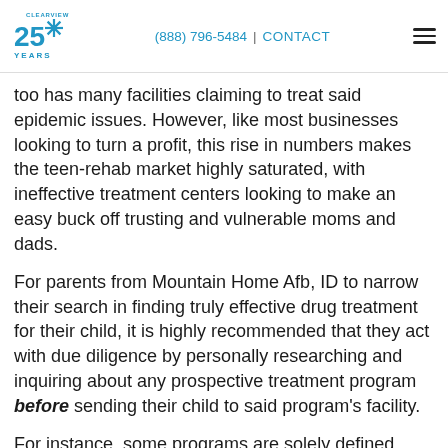CLEARVIEW 25 YEARS | (888) 796-5484 | CONTACT
too has many facilities claiming to treat said epidemic issues. However, like most businesses looking to turn a profit, this rise in numbers makes the teen-rehab market highly saturated, with ineffective treatment centers looking to make an easy buck off trusting and vulnerable moms and dads.
For parents from Mountain Home Afb, ID to narrow their search in finding truly effective drug treatment for their child, it is highly recommended that they act with due diligence by personally researching and inquiring about any prospective treatment program before sending their child to said program's facility.
For instance, some programs are solely defined treatment facilities, offering little to no services in regard to education. However, most of the premiere